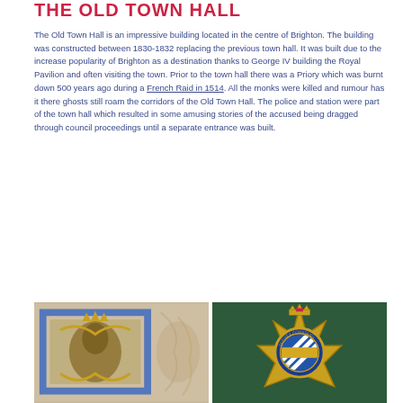THE OLD TOWN HALL
The Old Town Hall is an impressive building located in the centre of Brighton. The building was constructed between 1830-1832 replacing the previous town hall. It was built due to the increase popularity of Brighton as a destination thanks to George IV building the Royal Pavilion and often visiting the town. Prior to the town hall there was a Priory which was burnt down 500 years ago during a French Raid in 1514. All the monks were killed and rumour has it there ghosts still roam the corridors of the Old Town Hall. The police and station were part of the town hall which resulted in some amusing stories of the accused being dragged through council proceedings until a separate entrance was built.
[Figure (photo): Left: A heraldic mosaic or decorative tile with gold and brown colors showing a coat of arms design with a blue border. Right: Sussex Constabulary police badge/crest on a dark green background.]